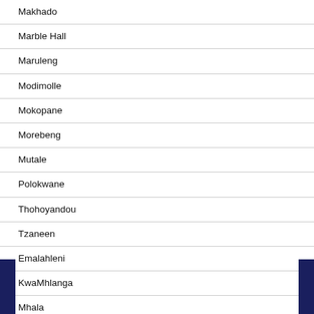Makhado
Marble Hall
Maruleng
Modimolle
Mokopane
Morebeng
Mutale
Polokwane
Thohoyandou
Tzaneen
Emalahleni
KwaMhlanga
Mhala
Nelspruit